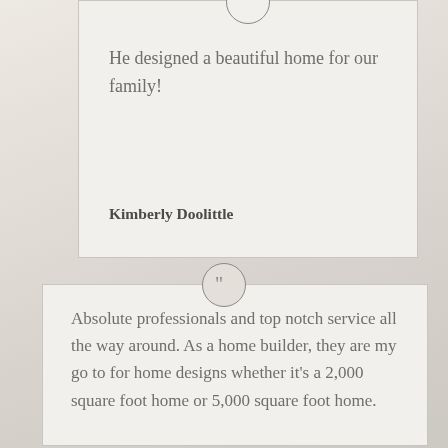[Figure (other): Testimonial card 1 with quote icon at top, testimonial text and author name]
He designed a beautiful home for our family!
Kimberly Doolittle
[Figure (other): Testimonial card 2 with quote icon at top and testimonial text]
Absolute professionals and top notch service all the way around. As a home builder, they are my go to for home designs whether it's a 2,000 square foot home or 5,000 square foot home.